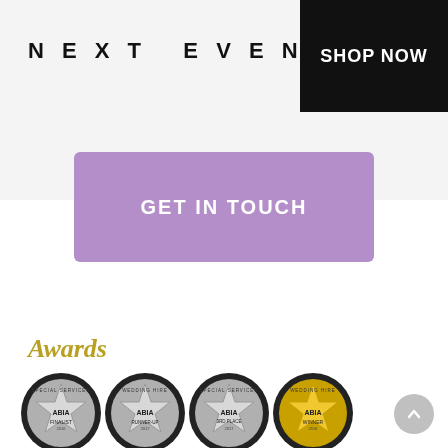NEXT EVENT
SHOP NOW
GET IN TOUCH
Awards
[Figure (illustration): Four ABIA award badges/medals: silver Finalist, silver Runner-Up, silver 3rd Place, and gold Winner, arranged in a row at the bottom of the page.]